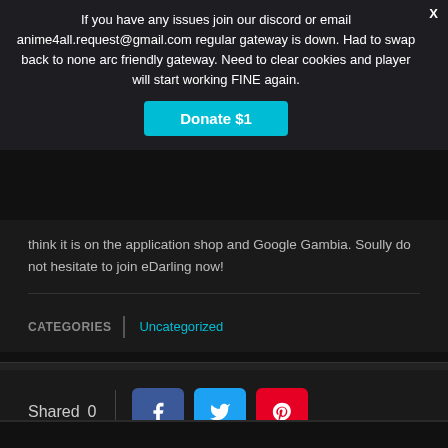If you have any issues join our discord or email anime4all.request@gmail.com regular gateway is down. Had to swap back to none arc friendly gateway. Need to clear cookies and player will start working FINE again.
[Figure (other): Donate $1 button in cyan/teal color]
think it is on the application shop and Google Gambia. Soully do not hesitate to join eDarling now!
CATEGORIES   Uncategorized
Shared 0
[Figure (other): Social share buttons: Facebook (blue), Twitter (cyan), Pinterest (red), WhatsApp (green)]